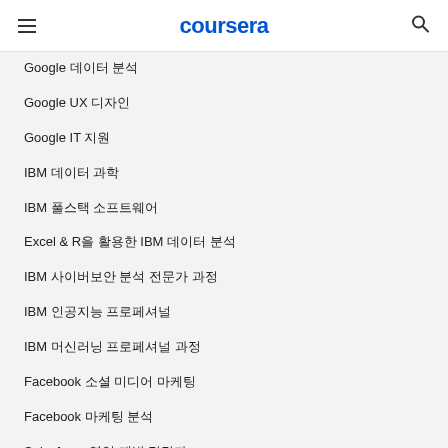coursera
Google 데이터 분석
Google UX 디자인
Google IT 지원
IBM 데이터 과학
IBM 풀스택 소프트웨어
Excel & R을 활용한 IBM 데이터 분석
IBM 사이버보안 분석 전문가 과정
IBM 인공지능 프로페셔널
IBM 머신러닝 프로페셔널 과정
Facebook 소셜 미디어 마케팅
Facebook 마케팅 분석
Salesforce 영업 개발 담당자
Salesforce 영업 운영
Intuit 북키핑
Google 프로젝트 관리: 프로젝트 매니저가 되기 위한 모든 것